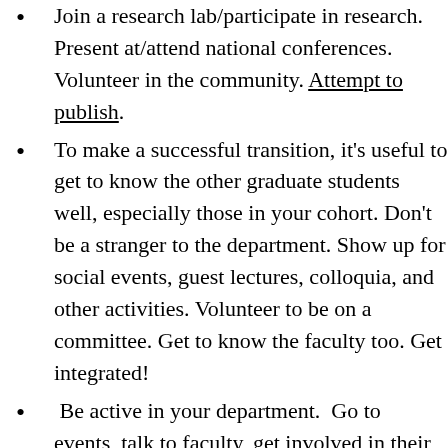Join a research lab/participate in research. Present at/attend national conferences. Volunteer in the community. Attempt to publish.
To make a successful transition, it's useful to get to know the other graduate students well, especially those in your cohort. Don't be a stranger to the department. Show up for social events, guest lectures, colloquia, and other activities. Volunteer to be on a committee. Get to know the faculty too. Get integrated!
Be active in your department. Go to events, talk to faculty, get involved in their research, work on campus so faculty see you. The more faculty see you and feel like you participate in the culture of the department, the more likely it will be that they drop your name when talking to colleagues at other schools, introduce you to people at